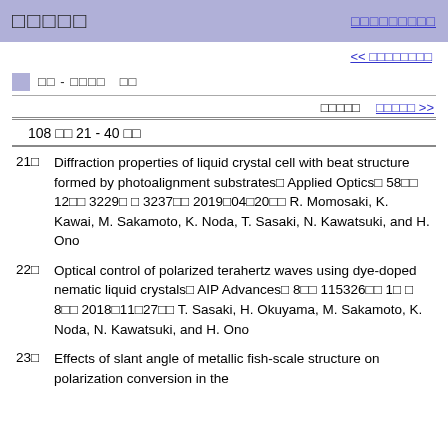□□□□□   □□□□□□□□□
<< □□□□□□□□
□□ - □□□□   □□
□□□□□   □□□□□ >>
108 □□ 21 - 40 □□
21□  Diffraction properties of liquid crystal cell with beat structure formed by photoalignment substrates□ Applied Optics□ 58□□ 12□□ 3229□ □ 3237□□ 2019□04□20□□ R. Momosaki, K. Kawai, M. Sakamoto, K. Noda, T. Sasaki, N. Kawatsuki, and H. Ono
22□  Optical control of polarized terahertz waves using dye-doped nematic liquid crystals□ AIP Advances□ 8□□ 115326□□ 1□ □ 8□□ 2018□11□27□□ T. Sasaki, H. Okuyama, M. Sakamoto, K. Noda, N. Kawatsuki, and H. Ono
23□  Effects of slant angle of metallic fish-scale structure on polarization conversion in the